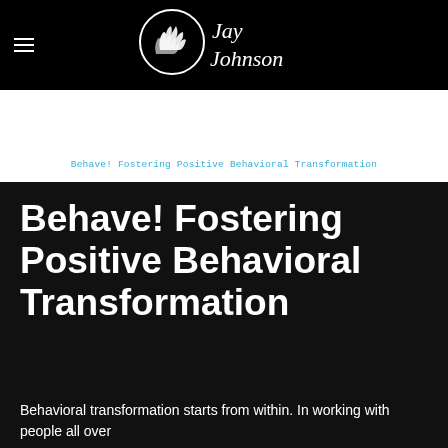Jay Johnson
Behave! Fostering Positive Behavioral Transformation
Behave! Fostering Positive Behavioral Transformation
Behavioral transformation starts from within. In working with people all over